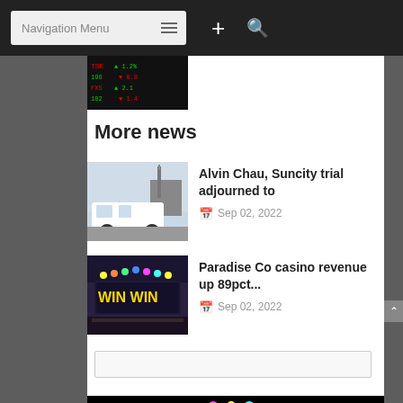Navigation Menu
[Figure (screenshot): Stock ticker display with red/green numbers on dark background]
More news
Alvin Chau, Suncity trial adjourned to
Sep 02, 2022
Paradise Co casino revenue up 89pct...
Sep 02, 2022
[Figure (screenshot): Casino slot machine or gaming display with colorful lights on black background]